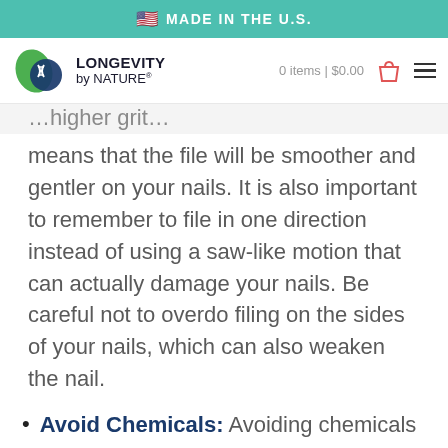MADE IN THE U.S.
[Figure (logo): Longevity by Nature logo with green leaf and DNA helix icon]
means that the file will be smoother and gentler on your nails. It is also important to remember to file in one direction instead of using a saw-like motion that can actually damage your nails. Be careful not to overdo filing on the sides of your nails, which can also weaken the nail.
Avoid Chemicals: Avoiding chemicals in both your diet and your beauty products can help